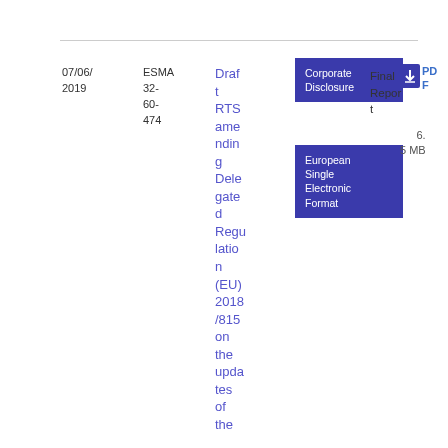07/06/
2019
ESMA
32-
60-
474
Draft RTS amending Delegated Regulation (EU) 2018/815 on the updates of the
Corporate Disclosure
European Single Electronic Format
Final Report
[Figure (other): Download icon with chevron in dark blue square]
PDF
6.5 MB